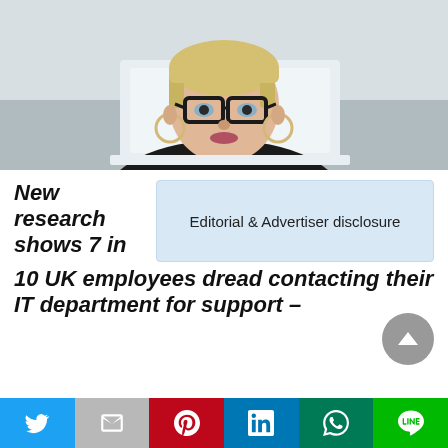[Figure (photo): Blonde woman with glasses looking at a computer screen, office background]
New research shows 7 in 10 UK employees dread contacting their IT department for support –
Editorial & Advertiser disclosure